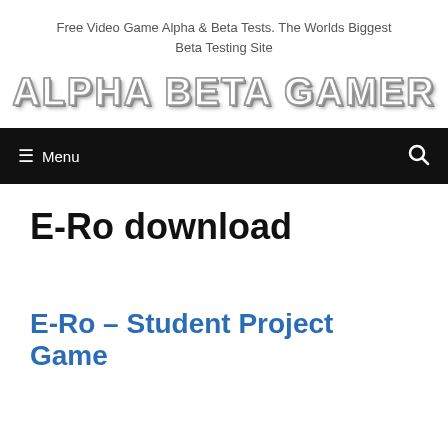Free Video Game Alpha & Beta Tests. The Worlds Biggest Beta Testing Site
[Figure (logo): Alpha Beta Gamer logo with stylized white bold text and shadow effect]
E-Ro download
E-Ro – Student Project Game